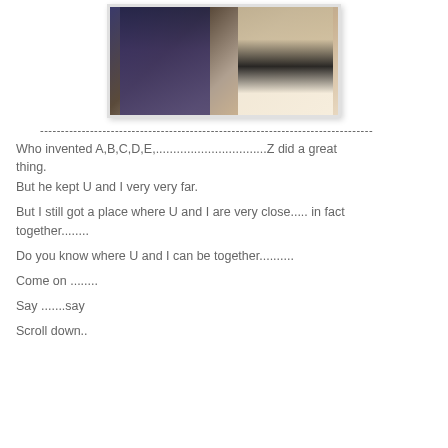[Figure (photo): Photo of two people posing together, a man on the left in a striped shirt and blue jacket, and a woman on the right with curly blonde hair wearing a black top with red accessories.]
--------------------------------------------------------------------------------
Who invented A,B,C,D,E,................................Z did a great thing.
But he kept U and I very very far.

But I still got a place where U and I are very close..... in fact together........

Do you know where U and I can be together..........

Come on ........

Say .......say

Scroll down..